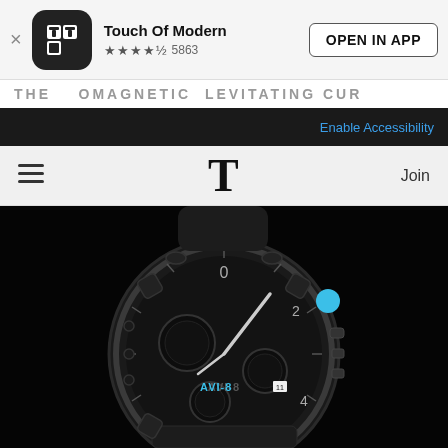[Figure (screenshot): Touch Of Modern app install banner with logo, star rating (4.5 stars, 5863 reviews), and 'OPEN IN APP' button]
THE ... OMAGNETIC LEVITATING CUR
Enable Accessibility
[Figure (screenshot): Website navigation bar with hamburger menu, T logo, and Join link]
[Figure (photo): AVI-8 chronograph watch with black case and blue accents on dark background]